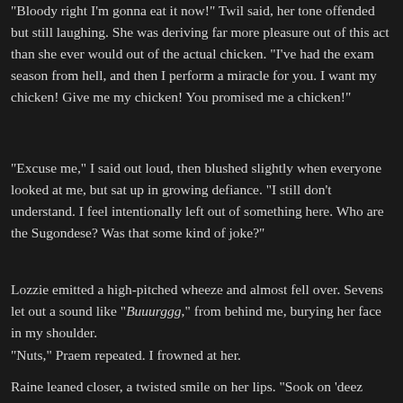“Bloody right I’m gonna eat it now!” Twil said, her tone offended but still laughing. She was deriving far more pleasure out of this act than she ever would out of the actual chicken. “I’ve had the exam season from hell, and then I perform a miracle for you. I want my chicken! Give me my chicken! You promised me a chicken!”
“Excuse me,” I said out loud, then blushed slightly when everyone looked at me, but sat up in growing defiance. “I still don’t understand. I feel intentionally left out of something here. Who are the Sugondese? Was that some kind of joke?”
Lozzie emitted a high-pitched wheeze and almost fell over. Sevens let out a sound like “Buuurggg,” from behind me, burying her face in my shoulder.
“Nuts,” Praem repeated. I frowned at her.
Raine leaned closer, a twisted smile on her lips. “Sook on ‘deez titties.”